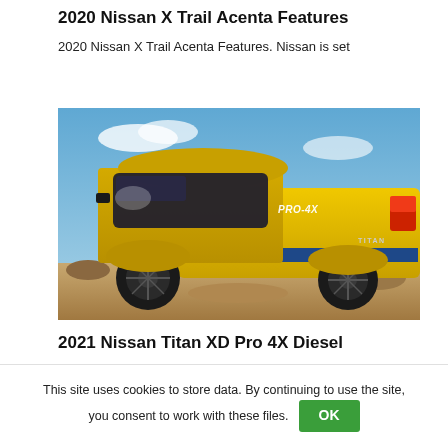2020 Nissan X Trail Acenta Features
2020 Nissan X Trail Acenta Features. Nissan is set
[Figure (photo): Yellow Nissan Titan XD Pro 4X pickup truck on rocky terrain with blue sky background, rear three-quarter view showing PRO-4X badge and red taillights]
2021 Nissan Titan XD Pro 4X Diesel
This site uses cookies to store data. By continuing to use the site, you consent to work with these files. OK